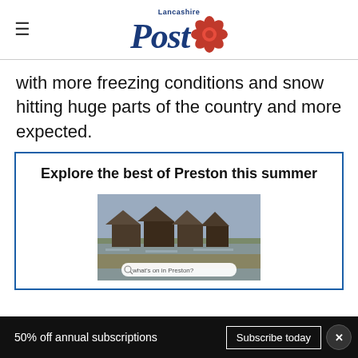Lancashire Post
with more freezing conditions and snow hitting huge parts of the country and more expected.
Explore the best of Preston this summer
[Figure (photo): Photo of thatched-roof boathouses reflected in water with reeds in foreground, and a search bar overlay reading 'what's on in Preston?']
50% off annual subscriptions   Subscribe today   ×